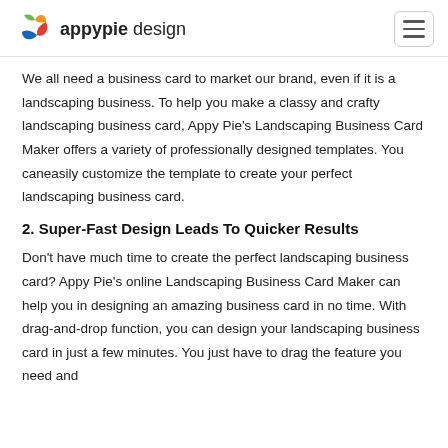appypie design
We all need a business card to market our brand, even if it is a landscaping business. To help you make a classy and crafty landscaping business card, Appy Pie's Landscaping Business Card Maker offers a variety of professionally designed templates. You caneasily customize the template to create your perfect landscaping business card.
2. Super-Fast Design Leads To Quicker Results
Don't have much time to create the perfect landscaping business card? Appy Pie's online Landscaping Business Card Maker can help you in designing an amazing business card in no time. With drag-and-drop function, you can design your landscaping business card in just a few minutes. You just have to drag the feature you need and